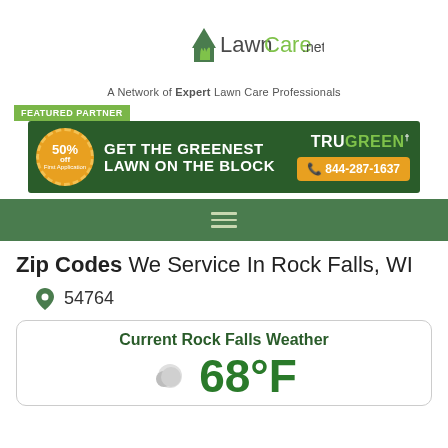[Figure (logo): LawnCare.net logo with house and grass icon]
A Network of Expert Lawn Care Professionals
FEATURED PARTNER
[Figure (infographic): TruGreen advertisement banner: GET THE GREENEST LAWN ON THE BLOCK, 50% off First Application, 844-287-1637]
[Figure (other): Navigation hamburger menu icon on green background]
Zip Codes We Service In Rock Falls, WI
54764
Current Rock Falls Weather
68°F